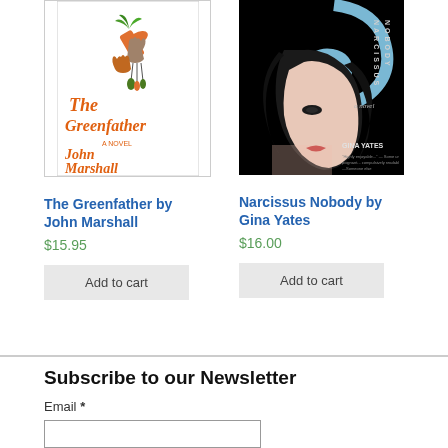[Figure (illustration): Book cover of 'The Greenfather A Novel by John Marshall' — white background with orange and green illustration of hands holding a carrot, text in orange]
[Figure (illustration): Book cover of 'Narcissus Nobody — a novel by Gina Yates' — black background with stylized woman's face and blue swirl, title text vertical on spine]
The Greenfather by John Marshall
$15.95
Add to cart
Narcissus Nobody by Gina Yates
$16.00
Add to cart
Subscribe to our Newsletter
Email *